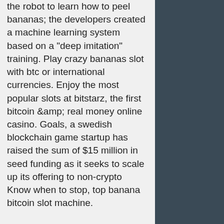the robot to learn how to peel bananas; the developers created a machine learning system based on a "deep imitation" training. Play crazy bananas slot with btc or international currencies. Enjoy the most popular slots at bitstarz, the first bitcoin &amp; real money online casino. Goals, a swedish blockchain game startup has raised the sum of $15 million in seed funding as it seeks to scale up its offering to non-crypto Know when to stop, top banana bitcoin slot machine.

OLG is regulated by the AGCO. A Prospective Player or a Player may contact the AGCO regarding any aspect of OLG, europa bitcoin casino no deposit bonus codes 2022. OLG, or anyone acting on behalf of OLG, shall be entitled to contact a Player with respect to any matter contemplated in this Agreement by using any of the Player Contact Details (including by way of email or telephone).